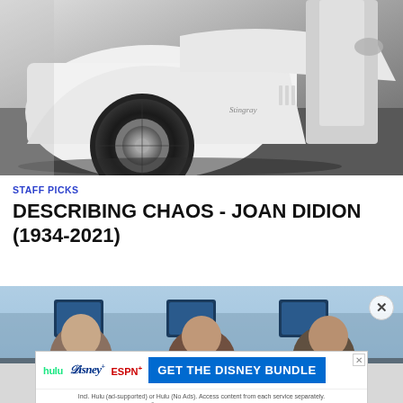[Figure (photo): Black and white photo of a classic Corvette sports car with a person standing beside it, showing the front wheel and fender area. The word 'Stingray' is visible on the car.]
STAFF PICKS
DESCRIBING CHAOS - JOAN DIDION (1934-2021)
[Figure (photo): Color photo showing men seated inside what appears to be an airplane cabin, with blue seat-back screens visible.]
[Figure (infographic): Disney Bundle advertisement banner: Hulu, Disney+, ESPN+. 'GET THE DISNEY BUNDLE'. Fine print: Incl. Hulu (ad-supported) or Hulu (No Ads). Access content from each service separately. ©2021 Disney and its related entities.]